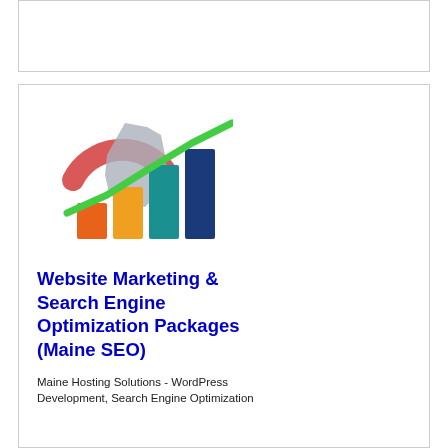[Figure (illustration): SEO bar chart illustration with orange, yellow-orange, teal, and dark blue bars, a green upward trending line, and a Maine state map outline with a circular branding element in the background]
Website Marketing & Search Engine Optimization Packages (Maine SEO)
Maine Hosting Solutions - WordPress Development, Search Engine Optimization